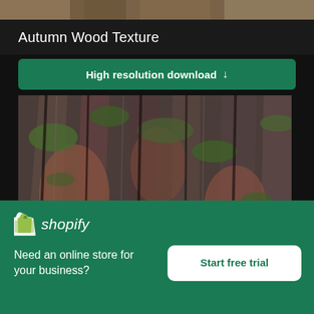[Figure (photo): Cropped top portion of a tree bark / autumn wood texture image at the very top of the page]
Autumn Wood Texture
High resolution download ↓
[Figure (photo): Close-up photograph of rough tree bark with mossy green patches and reddish-brown hues]
×
[Figure (logo): Shopify logo with bag icon and italic wordmark 'shopify']
Need an online store for your business?
Start free trial